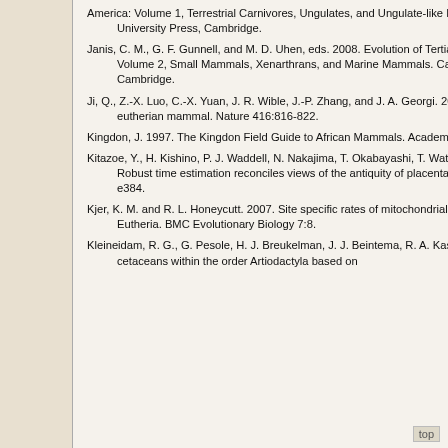America: Volume 1, Terrestrial Carnivores, Ungulates, and Ungulate-like Mammals. Cambridge University Press, Cambridge.
Janis, C. M., G. F. Gunnell, and M. D. Uhen, eds. 2008. Evolution of Tertiary Mammals of North America: Volume 2, Small Mammals, Xenarthrans, and Marine Mammals. Cambridge University Press, Cambridge.
Ji, Q., Z.-X. Luo, C.-X. Yuan, J. R. Wible, J.-P. Zhang, and J. A. Georgi. 2002. The earliest known eutherian mammal. Nature 416:816-822.
Kingdon, J. 1997. The Kingdon Field Guide to African Mammals. Academic Press, London.
Kitazoe, Y., H. Kishino, P. J. Waddell, N. Nakajima, T. Okabayashi, T. Watabe, and Y. Okuhara. 2007. Robust time estimation reconciles views of the antiquity of placental mammals. PLoS ONE 2(4): e384.
Kjer, K. M. and R. L. Honeycutt. 2007. Site specific rates of mitochondrial genomes and the phylogeny of Eutheria. BMC Evolutionary Biology 7:8.
Kleineidam, R. G., G. Pesole, H. J. Breukelman, J. J. Beintema, R. A. Kastelein. 1999. Inclusion of cetaceans within the order Artiodactyla based on